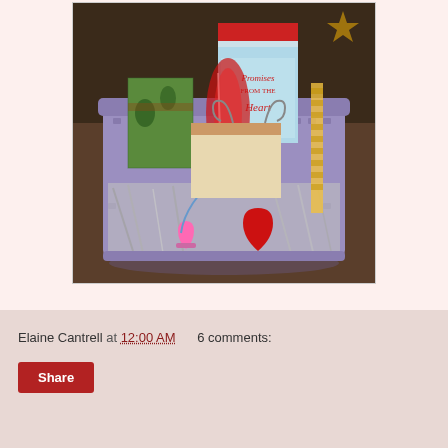[Figure (photo): A purple plastic laundry basket filled with Valentine's Day gift items including a book titled 'Promises from the Heart', wrapped gifts, red heart decorations, pink accessories, and silver metallic shredded paper filling.]
Elaine Cantrell at 12:00 AM    6 comments:
Share